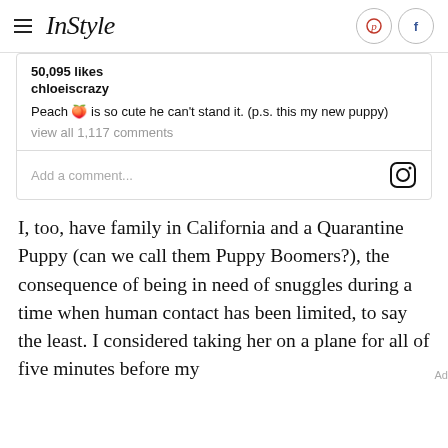InStyle
50,095 likes
chloeiscrazy
Peach 🍑 is so cute he can't stand it. (p.s. this my new puppy)
view all 1,117 comments
Add a comment...
I, too, have family in California and a Quarantine Puppy (can we call them Puppy Boomers?), the consequence of being in need of snuggles during a time when human contact has been limited, to say the least. I considered taking her on a plane for all of five minutes before my